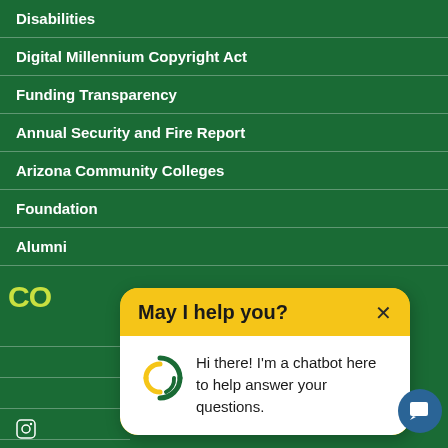Disabilities
Digital Millennium Copyright Act
Funding Transparency
Annual Security and Fire Report
Arizona Community Colleges
Foundation
Alumni
[Figure (screenshot): Chatbot popup with yellow header saying 'May I help you?' with close X button, and white body with chatbot logo and text 'Hi there! I'm a chatbot here to help answer your questions.']